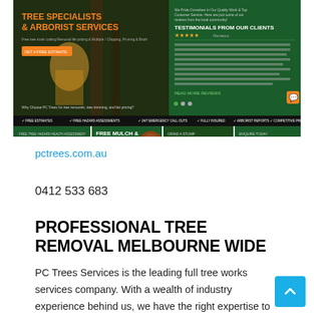[Figure (screenshot): Screenshot of pctrees.com.au website showing a tree specialists and arborist services webpage with green and dark theme, featuring a hero image of a worker near a tree, testimonials section, and promotional banners including 'VALUED AT $220' and 'GET THE 5TH STUMP GROUND OUT FOR FREE!']
pctrees.com.au
0412 533 683
PROFESSIONAL TREE REMOVAL MELBOURNE WIDE
PC Trees Services is the leading full tree works services company. With a wealth of industry experience behind us, we have the right expertise to tackle even the most complex projects. Whether your